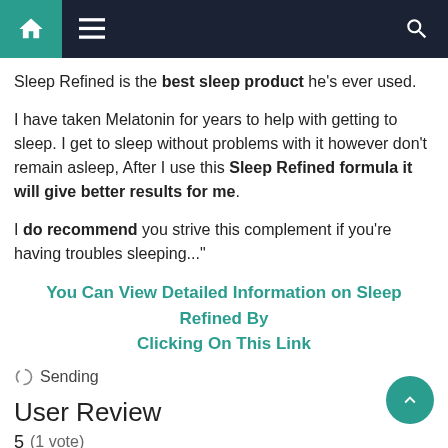Navigation bar with home, menu, and search icons
Sleep Refined is the best sleep product he's ever used.
I have taken Melatonin for years to help with getting to sleep. I get to sleep without problems with it however don't remain asleep, After I use this Sleep Refined formula it will give better results for me.
I do recommend you strive this complement if you're having troubles sleeping..."
You Can View Detailed Information on Sleep Refined By Clicking On This Link
Sending
User Review
5 (1 vote)